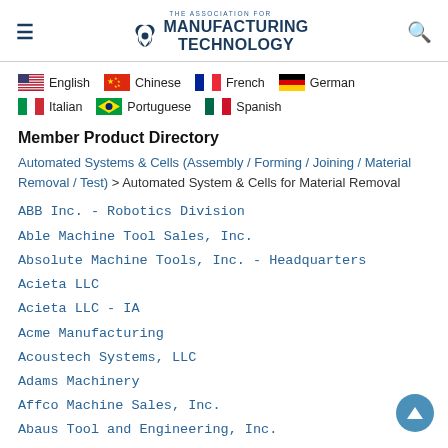THE ASSOCIATION FOR MANUFACTURING TECHNOLOGY
[Figure (infographic): Language selection flags: English (US flag), Chinese (China flag), French (France flag), German (Germany flag), Italian (Italy flag), Portuguese (Brazil flag), Spanish (Mexico flag)]
Member Product Directory
Automated Systems & Cells (Assembly / Forming / Joining / Material Removal / Test) > Automated System & Cells for Material Removal
ABB Inc. - Robotics Division
Able Machine Tool Sales, Inc.
Absolute Machine Tools, Inc. - Headquarters
Acieta LLC
Acieta LLC - IA
Acme Manufacturing
Acoustech Systems, LLC
Adams Machinery
Affco Machine Sales, Inc.
Abaus Tool and Engineering, Inc.